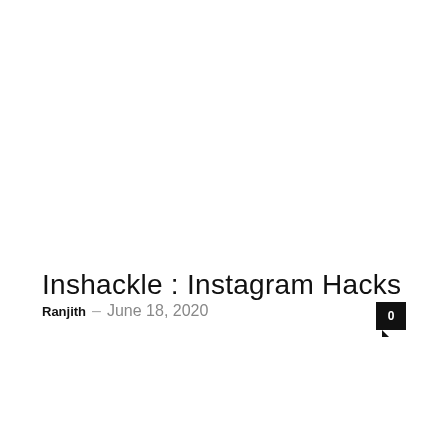Inshackle : Instagram Hacks
Ranjith  –  June 18, 2020